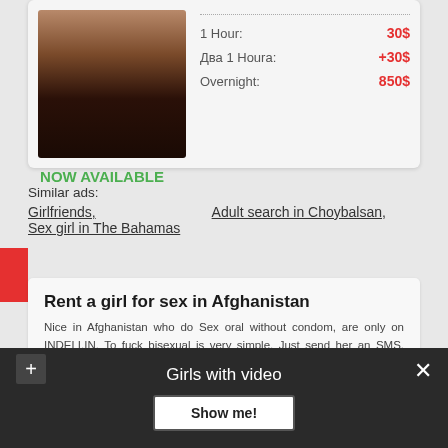[Figure (photo): Partial photo of a person wearing black shorts]
1 Hour: 30$
Два 1 Houra: +30$
Overnight: 850$
NOW AVAILABLE
Similar ads:
Girlfriends,
Sex girl in The Bahamas
Adult search in Choybalsan,
Rent a girl for sex in Afghanistan
Nice in Afghanistan who do Sex oral without condom, are only on INDELI.IN. To fuck bisexual is very simple. Just send her an SMS. Following the vote in this region the best lady - Noelia. Even more remarkable, в отличие от мужчин, редко впадают в детство, но если это происходит, то жди беды
Girls with video
Show me!